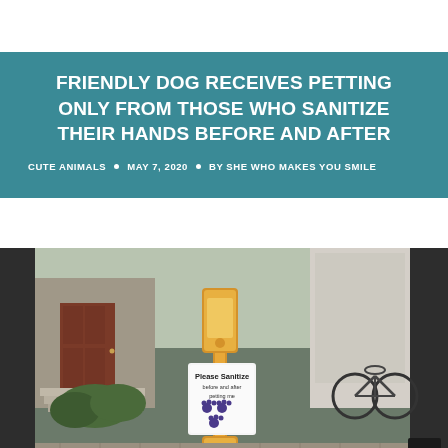FRIENDLY DOG RECEIVES PETTING ONLY FROM THOSE WHO SANITIZE THEIR HANDS BEFORE AND AFTER
CUTE ANIMALS • MAY 7, 2020 • BY SHE WHO MAKES YOU SMILE
[Figure (photo): A hand sanitizer dispenser on a post outdoors, with a sign reading 'Please Sanitize before and after petting me' with paw prints and the name 'Sparkle' at the bottom. Background shows a house entrance with stairs, bushes, and bicycles.]